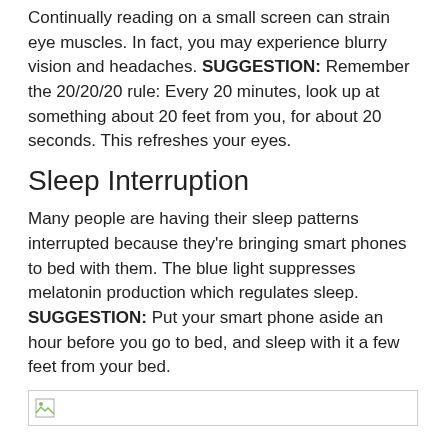Continually reading on a small screen can strain eye muscles. In fact, you may experience blurry vision and headaches. SUGGESTION: Remember the 20/20/20 rule: Every 20 minutes, look up at something about 20 feet from you, for about 20 seconds. This refreshes your eyes.
Sleep Interruption
Many people are having their sleep patterns interrupted because they're bringing smart phones to bed with them. The blue light suppresses melatonin production which regulates sleep. SUGGESTION: Put your smart phone aside an hour before you go to bed, and sleep with it a few feet from your bed.
[Figure (photo): Image placeholder with a small broken image icon in the bottom left of page]